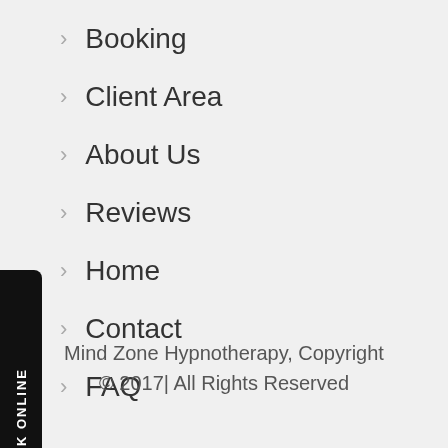Booking
Client Area
About Us
Reviews
Home
Contact
FAQ
Mind Zone Hypnotherapy, Copyright © 2017| All Rights Reserved